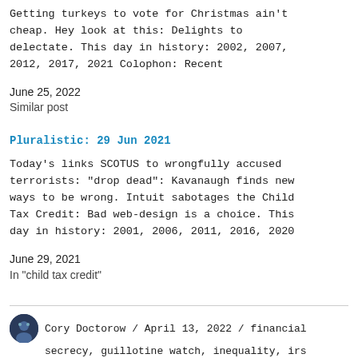Getting turkeys to vote for Christmas ain't cheap. Hey look at this: Delights to delectate. This day in history: 2002, 2007, 2012, 2017, 2021 Colophon: Recent
June 25, 2022
Similar post
Pluralistic: 29 Jun 2021
Today's links SCOTUS to wrongfully accused terrorists: "drop dead": Kavanaugh finds new ways to be wrong. Intuit sabotages the Child Tax Credit: Bad web-design is a choice. This day in history: 2001, 2006, 2011, 2016, 2020
June 29, 2021
In "child tax credit"
Cory Doctorow / April 13, 2022 / financial secrecy, guillotine watch, inequality, irs